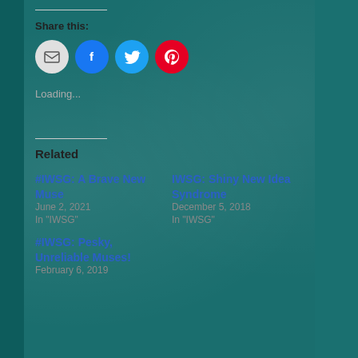Share this:
[Figure (infographic): Social sharing icons: email (grey circle), Facebook (blue circle), Twitter (cyan circle), Pinterest (red circle)]
Loading...
Related
#IWSG: A Brave New Muse
June 2, 2021
In "IWSG"
IWSG: Shiny New Idea Syndrome
December 5, 2018
In "IWSG"
#IWSG: Pesky, Unreliable Muses!
February 6, 2019